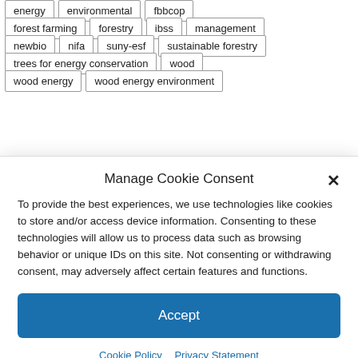energy
environmental
fbbcop
forest farming
forestry
ibss
management
newbio
nifa
suny-esf
sustainable forestry
trees for energy conservation
wood
wood energy
wood energy environment
Manage Cookie Consent
To provide the best experiences, we use technologies like cookies to store and/or access device information. Consenting to these technologies will allow us to process data such as browsing behavior or unique IDs on this site. Not consenting or withdrawing consent, may adversely affect certain features and functions.
Accept
Cookie Policy   Privacy Statement